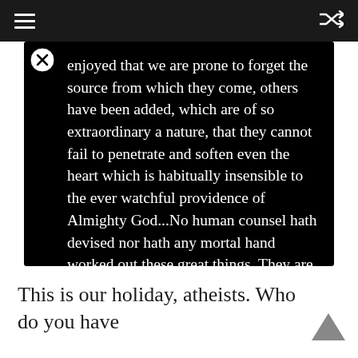≡  ⇌
enjoyed that we are prone to forget the source from which they come, others have been added, which are of so extraordinary a nature, that they cannot fail to penetrate and soften even the heart which is habitually insensible to the ever watchful providence of Almighty God...No human counsel hath devised nor hath any mortal hand worked out these great things. They are the gracious gifts of the Most High God, who, while dealing with us in anger for our sins, hath nevertheless remembered mercy.
This is our holiday, atheists. Who do you have